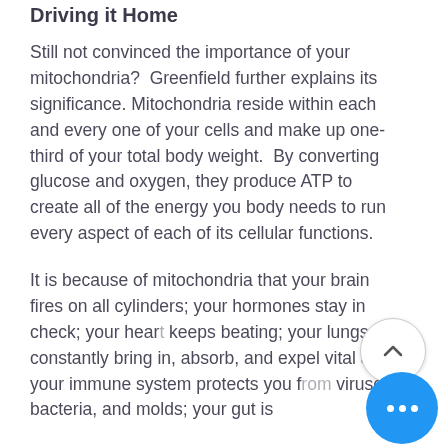Driving it Home
Still not convinced the importance of your mitochondria?  Greenfield further explains its significance. Mitochondria reside within each and every one of your cells and make up one-third of your total body weight.  By converting glucose and oxygen, they produce ATP to create all of the energy you body needs to run every aspect of each of its cellular functions.
It is because of mitochondria that your brain fires on all cylinders; your hormones stay in check; your heart keeps beating; your lungs constantly bring in, absorb, and expel vital air; your immune system protects you from viruses, bacteria, and molds; your gut is